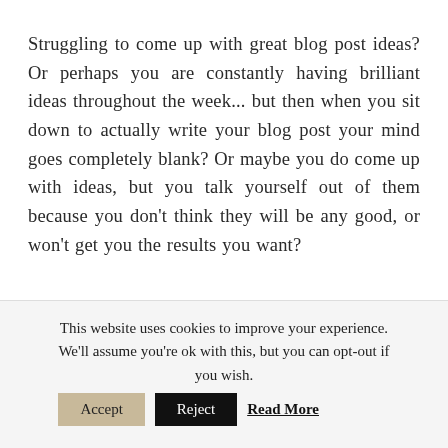Struggling to come up with great blog post ideas? Or perhaps you are constantly having brilliant ideas throughout the week... but then when you sit down to actually write your blog post your mind goes completely blank? Or maybe you do come up with ideas, but you talk yourself out of them because you don't think they will be any good, or won't get you the results you want?
This website uses cookies to improve your experience. We'll assume you're ok with this, but you can opt-out if you wish. Accept Reject Read More